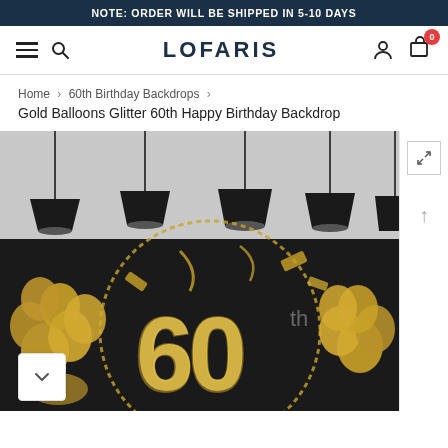NOTE: ORDER WILL BE SHIPPED IN 5-10 DAYS
[Figure (screenshot): Lofaris website navigation bar with hamburger menu, search icon, LOFARIS logo, user icon, and cart with badge showing 0]
Home > 60th Birthday Backdrops > Gold Balloons Glitter 60th Happy Birthday Backdrop
[Figure (photo): Product photo of a 60th birthday party backdrop featuring black and gold theme with gold balloons, glittery '60' text, confetti, and pendant lights in the background. Shows two sections: top with hanging black pendant lamps on grey background, and bottom with the actual black backdrop with gold balloons and large glitter '60' numbers.]